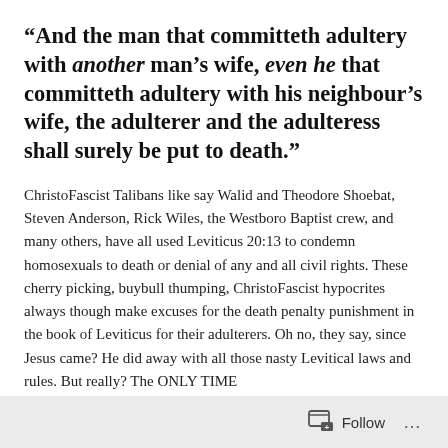“And the man that committeth adultery with another man’s wife, even he that committeth adultery with his neighbour’s wife, the adulterer and the adulteress shall surely be put to death.”
ChristoFascist Talibans like say Walid and Theodore Shoebat, Steven Anderson, Rick Wiles, the Westboro Baptist crew, and many others, have all used Leviticus 20:13 to condemn homosexuals to death or denial of any and all civil rights. These cherry picking, buybull thumping, ChristoFascist hypocrites always though make excuses for the death penalty punishment in the book of Leviticus for their adulterers. Oh no, they say, since Jesus came? He did away with all those nasty Levitical laws and rules. But really? The ONLY TIME
Follow ...